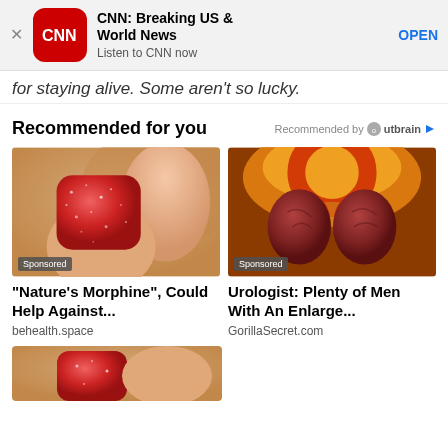[Figure (screenshot): CNN app advertisement banner with red CNN logo icon, text 'CNN: Breaking US & World News', 'Listen to CNN now', and OPEN button]
for staying alive. Some aren't so lucky.
Recommended for you
Recommended by Outbrain
[Figure (photo): Close-up photo of red gummy candy held between fingers with Sponsored badge]
"Nature's Morphine", Could Help Against...
behealth.space
[Figure (photo): Medical illustration of enlarged prostate with Sponsored badge]
Urologist: Plenty of Men With An Enlarge...
GorillaSecret.com
[Figure (photo): Partial bottom photo showing close-up of gummy candy or similar item held between fingers]